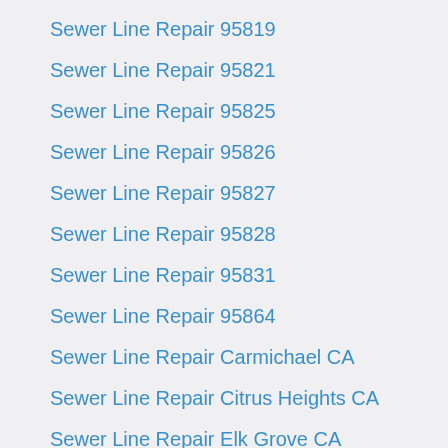Sewer Line Repair 95819
Sewer Line Repair 95821
Sewer Line Repair 95825
Sewer Line Repair 95826
Sewer Line Repair 95827
Sewer Line Repair 95828
Sewer Line Repair 95831
Sewer Line Repair 95864
Sewer Line Repair Carmichael CA
Sewer Line Repair Citrus Heights CA
Sewer Line Repair Elk Grove CA
Sewer Line Repair Natomas CA
Sewer Line Repair Sacramento CA
The Best Plumbing Company In Sacramento, CA
Number Repair 95834